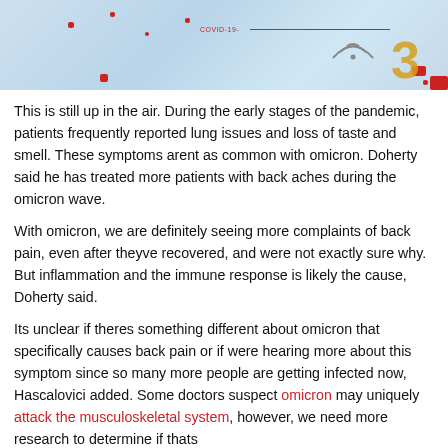[Figure (photo): COVID-19 themed banner image with red dots, a red line labeled COVID-19, wifi icon, and large orange number 3 on a blue/grey gradient background with red squares in corners]
This is still up in the air. During the early stages of the pandemic, patients frequently reported lung issues and loss of taste and smell. These symptoms arent as common with omicron. Doherty said he has treated more patients with back aches during the omicron wave.
With omicron, we are definitely seeing more complaints of back pain, even after theyve recovered, and were not exactly sure why. But inflammation and the immune response is likely the cause, Doherty said.
Its unclear if theres something different about omicron that specifically causes back pain or if were hearing more about this symptom since so many more people are getting infected now, Hascalovici added. Some doctors suspect omicron may uniquely attack the musculoskeletal system, however, we need more research to determine if thats